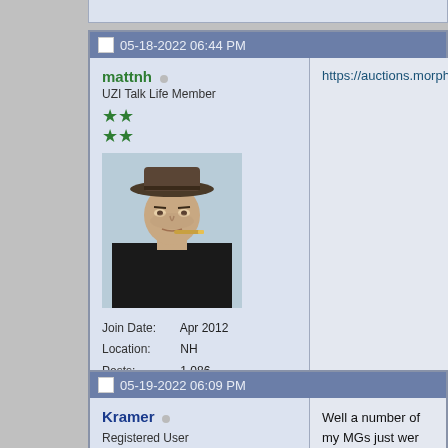05-18-2022 06:44 PM
mattnh
UZI Talk Life Member
Join Date: Apr 2012
Location: NH
Posts: 1,086
https://auctions.morphyauctions.co
05-19-2022 06:09 PM
Kramer
Registered User
Join Date: Feb 2008
Location: nePA
Posts: 1,514
Well a number of my MGs just wer...

I know a dealer a few years back th of those long running auction sites paperwork came back it was a trar